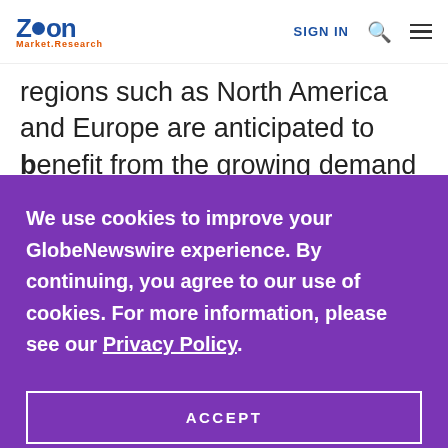Zion Market Research | SIGN IN
regions such as North America and Europe are anticipated to benefit from the growing demand for replacements. Consumers in these regions are replacing their compact built-in lens cameras
We use cookies to improve your GlobeNewswire experience. By continuing, you agree to our use of cookies. For more information, please see our Privacy Policy.
ACCEPT